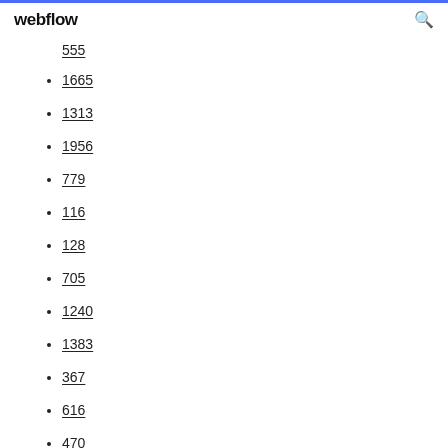webflow
555
1665
1313
1956
779
116
128
705
1240
1383
367
616
470